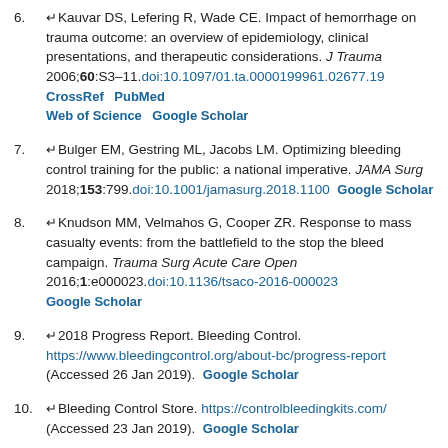6. ↵Kauvar DS, Lefering R, Wade CE. Impact of hemorrhage on trauma outcome: an overview of epidemiology, clinical presentations, and therapeutic considerations. J Trauma 2006;60:S3–11. doi:10.1097/01.ta.0000199961.02677.19  CrossRef  PubMed  Web of Science  Google Scholar
7. ↵Bulger EM, Gestring ML, Jacobs LM. Optimizing bleeding control training for the public: a national imperative. JAMA Surg 2018;153:799. doi:10.1001/jamasurg.2018.1100  Google Scholar
8. ↵Knudson MM, Velmahos G, Cooper ZR. Response to mass casualty events: from the battlefield to the stop the bleed campaign. Trauma Surg Acute Care Open 2016;1:e000023. doi:10.1136/tsaco-2016-000023  Google Scholar
9. ↵2018 Progress Report. Bleeding Control. https://www.bleedingcontrol.org/about-bc/progress-report (Accessed 26 Jan 2019). Google Scholar
10. ↵Bleeding Control Store. https://controlbleedingkits.com/ (Accessed 23 Jan 2019). Google Scholar